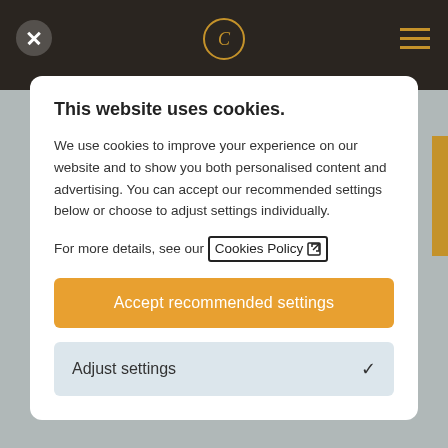[Figure (screenshot): Cookie consent modal dialog on a website. The modal shows a title 'This website uses cookies.' with explanatory text, a Cookies Policy link, an orange 'Accept recommended settings' button, and a light blue 'Adjust settings' collapsible section with a chevron. Behind the modal is a dark navigation bar with a logo and hamburger menu, and a grey page background.]
This website uses cookies.
We use cookies to improve your experience on our website and to show you both personalised content and advertising. You can accept our recommended settings below or choose to adjust settings individually.
For more details, see our Cookies Policy
Accept recommended settings
Adjust settings